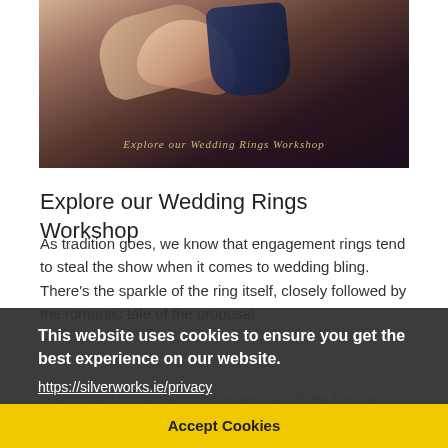[Figure (photo): Wedding rings photo with script overlay text reading 'Explore our Wedding Rings Workshop']
Explore our Wedding Rings Workshop
As tradition goes, we know that engagement rings tend to steal the show when it comes to wedding bling. There's the sparkle of the ring itself, closely followed by the romantic tale of the proposal.
However, today we're here to propose a toast in honour of the wedding ring itself – an often overlooked but equally important part of the big day and a lifelong physical representation of...
This website uses cookies to ensure you get the best experience on our website.
https://silverworks.ie/privacy
Accept Cookies